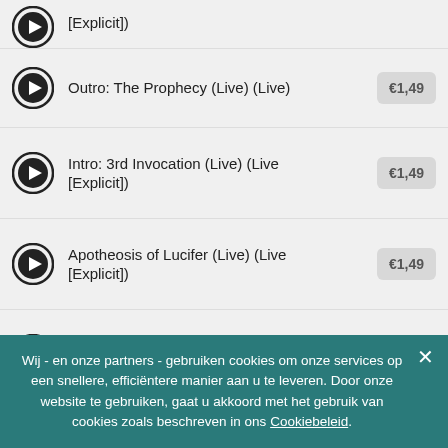[Explicit])
Outro: The Prophecy (Live) (Live) €1,49
Intro: 3rd Invocation (Live) (Live [Explicit]) €1,49
Apotheosis of Lucifer (Live) (Live [Explicit]) €1,49
Goat and the Moon (Live) (Live [Explicit]) €1,49
Blessed Vulva (Live) (Live [Explicit]) €1,49
Wij - en onze partners - gebruiken cookies om onze services op een snellere, efficiëntere manier aan u te leveren. Door onze website te gebruiken, gaat u akkoord met het gebruik van cookies zoals beschreven in ons Cookiebeleid.
Intro: Left Hand Path